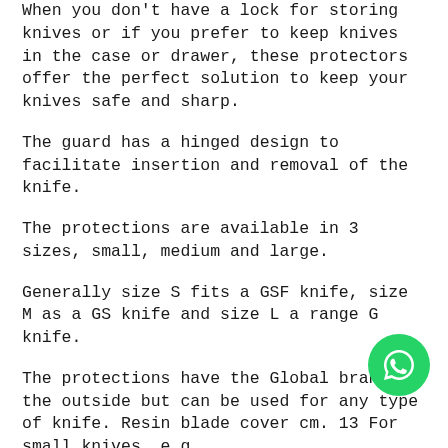When you don't have a lock for storing knives or if you prefer to keep knives in the case or drawer, these protectors offer the perfect solution to keep your knives safe and sharp.
The guard has a hinged design to facilitate insertion and removal of the knife.
The protections are available in 3 sizes, small, medium and large.
Generally size S fits a GSF knife, size M as a GS knife and size L a range G knife.
The protections have the Global brand on the outside but can be used for any type of knife. Resin blade cover cm. 13 For small knives, e.g.
GS and GSF range.
[Figure (illustration): WhatsApp contact button - green circle with white WhatsApp phone/chat icon]
GLOBAL Japanese knives are the favorite of Chefs in